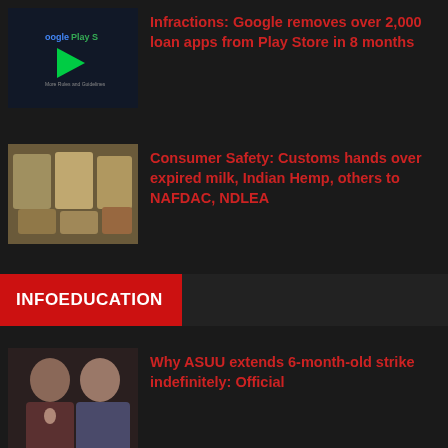[Figure (screenshot): Google Play Store logo thumbnail]
Infractions: Google removes over 2,000 loan apps from Play Store in 8 months
[Figure (photo): Bags of expired milk products]
Consumer Safety: Customs hands over expired milk, Indian Hemp, others to NAFDAC, NDLEA
INFOEDUCATION
[Figure (photo): ASUU officials portrait photo]
Why ASUU extends 6-month-old strike indefinitely: Official
[Figure (photo): KASU state university sign/gate]
KASU challenges ASUU President for referring to state universities as 'quacks' over Union's strike